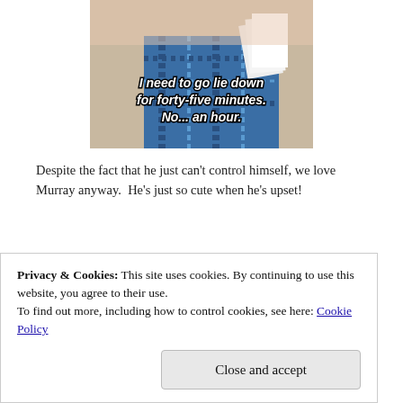[Figure (photo): Screenshot of a meme showing a person in a plaid shirt holding papers, with white bold italic text reading: 'I need to go lie down for forty-five minutes. No... an hour.']
Despite the fact that he just can't control himself, we love Murray anyway.  He's just so cute when he's upset!
[Figure (screenshot): Partial screenshot of video content with dark/black background, partially obscured by cookie banner.]
Privacy & Cookies: This site uses cookies. By continuing to use this website, you agree to their use.
To find out more, including how to control cookies, see here: Cookie Policy
Close and accept